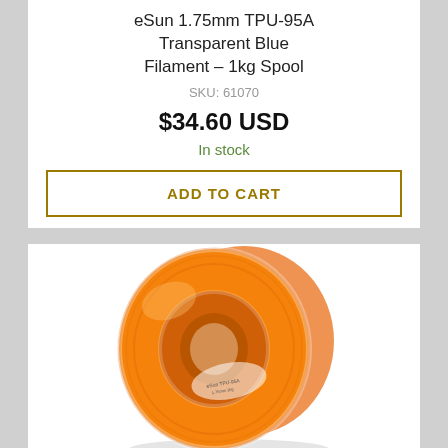eSun 1.75mm TPU-95A Transparent Blue Filament – 1kg Spool
SKU: 61070
$34.60 USD
In stock
ADD TO CART
[Figure (photo): Orange/yellow 3D printing filament spool (1kg) on a white background]